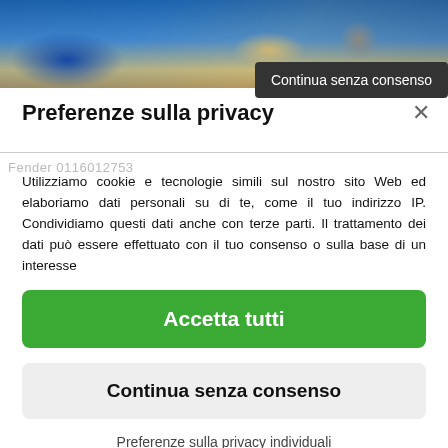[Figure (photo): Background photo of a guitar (appears to be a Fender electric guitar) partially visible behind the cookie consent modal overlay.]
Continua senza consenso
Preferenze sulla privacy
Utilizziamo cookie e tecnologie simili sul nostro sito Web ed elaboriamo dati personali su di te, come il tuo indirizzo IP. Condividiamo questi dati anche con terze parti. Il trattamento dei dati può essere effettuato con il tuo consenso o sulla base di un interesse
Accetta tutti
Continua senza consenso
Preferenze sulla privacy individuali
Cookie policy • Privacy policy • Consent Management Platform by Real Cookie Banner